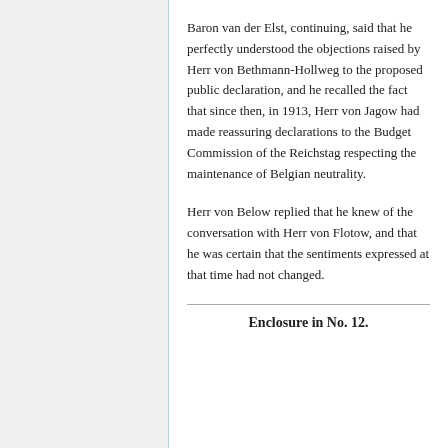Baron van der Elst, continuing, said that he perfectly understood the objections raised by Herr von Bethmann-Hollweg to the proposed public declaration, and he recalled the fact that since then, in 1913, Herr von Jagow had made reassuring declarations to the Budget Commission of the Reichstag respecting the maintenance of Belgian neutrality.
Herr von Below replied that he knew of the conversation with Herr von Flotow, and that he was certain that the sentiments expressed at that time had not changed.
Enclosure in No. 12.